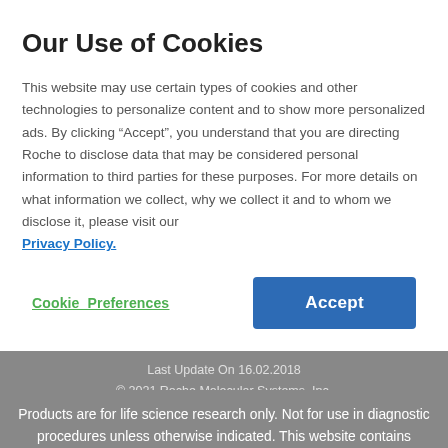Our Use of Cookies
This website may use certain types of cookies and other technologies to personalize content and to show more personalized ads. By clicking “Accept”, you understand that you are directing Roche to disclose data that may be considered personal information to third parties for these purposes. For more details on what information we collect, why we collect it and to whom we disclose it, please visit our Privacy Policy.
Cookie Preferences
Accept
ABOUT US
Last Update On 16.02.2018
© 2021 Roche Molecular Systems, Inc.
Products are for life science research only. Not for use in diagnostic procedures unless otherwise indicated. This website contains information on products which is targeted